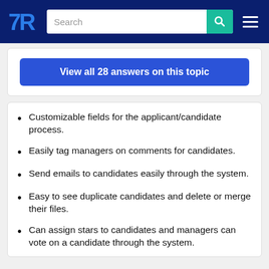TrustRadius navigation header with logo, search bar, and menu
View all 28 answers on this topic
Customizable fields for the applicant/candidate process.
Easily tag managers on comments for candidates.
Send emails to candidates easily through the system.
Easy to see duplicate candidates and delete or merge their files.
Can assign stars to candidates and managers can vote on a candidate through the system.